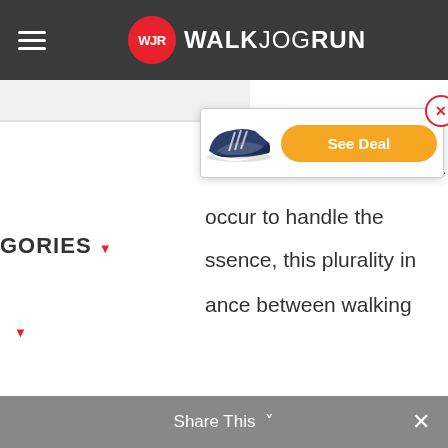WALKJOGRUN
[Figure (screenshot): WalkJogRun website navigation bar with hamburger menu icon on left and WalkJogRun logo centered on dark background]
[Figure (infographic): Ad popup showing a dark running shoe with orange 'See Deal' button and red X close button]
que way. While you run, a
occur to handle the
ssence, this plurality in
ance between walking
GORIES
ve the best shock
en making a purchase.
ria Used for
hock Absorbing
ces
Share This  ×